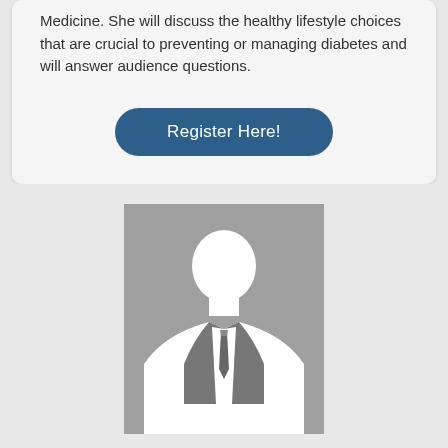Medicine. She will discuss the healthy lifestyle choices that are crucial to preventing or managing diabetes and will answer audience questions.
Register Here!
[Figure (photo): Generic placeholder silhouette of a person in a suit with tie, gray background]